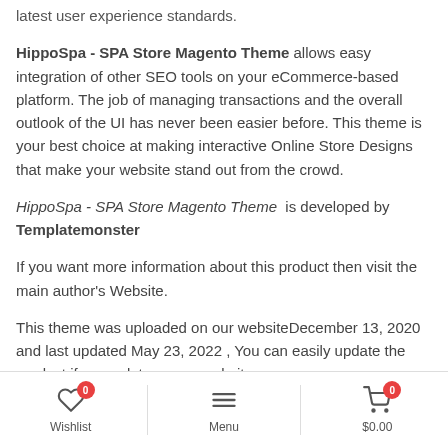latest user experience standards.
HippoSpa - SPA Store Magento Theme allows easy integration of other SEO tools on your eCommerce-based platform. The job of managing transactions and the overall outlook of the UI has never been easier before. This theme is your best choice at making interactive Online Store Designs that make your website stand out from the crowd.
HippoSpa - SPA Store Magento Theme is developed by Templatemonster
If you want more information about this product then visit the main author’s Website.
This theme was uploaded on our websiteDecember 13, 2020 and last updated May 23, 2022 , You can easily update the product if we update on our website.
Wishlist 0 | Menu | $0.00 0